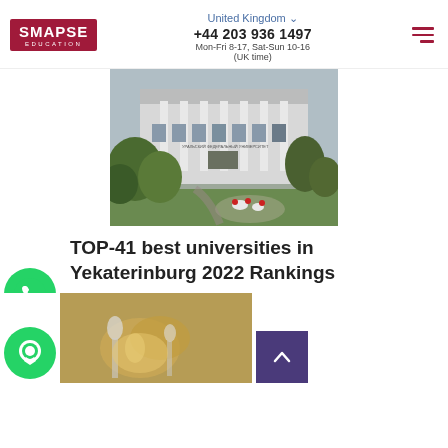SMAPSE EDUCATION | United Kingdom | +44 203 936 1497 | Mon-Fri 8-17, Sat-Sun 10-16 (UK time)
[Figure (photo): Exterior photo of a university building in Yekaterinburg with white columns, trees, and flower beds in foreground]
TOP-41 best universities in Yekaterinburg 2022 Rankings
[Figure (photo): WhatsApp chat button icon (green circle with phone handset)]
[Figure (photo): Chat/message button icon (green circle with speech bubble)]
[Figure (photo): Partial food/culinary photo at bottom of page]
[Figure (other): Scroll-to-top button (purple square with upward caret)]